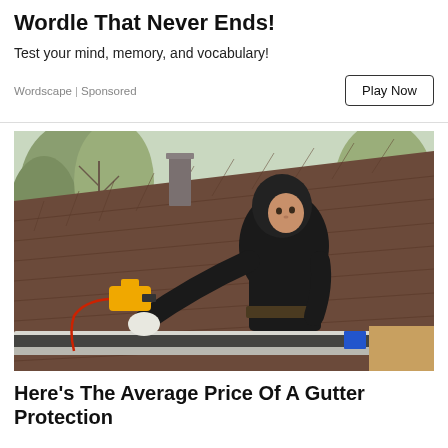Wordle That Never Ends!
Test your mind, memory, and vocabulary!
Wordscape | Sponsored
[Figure (photo): A worker in a black hoodie using a power tool on a residential rooftop, cleaning or installing gutter protection on a brown shingle roof, with trees and a brick house visible in the background.]
Here's The Average Price Of A Gutter Protection